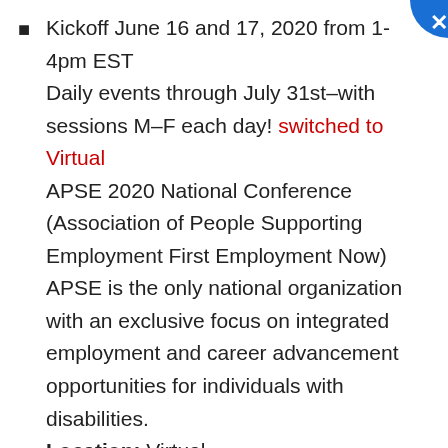Kickoff June 16 and 17, 2020 from 1-4pm EST
Daily events through July 31st–with sessions M–F each day! switched to Virtual
APSE 2020 National Conference (Association of People Supporting Employment First Employment Now)
APSE is the only national organization with an exclusive focus on integrated employment and career advancement opportunities for individuals with disabilities.
Location: Virtual
June 18–21, 2020 switched to Virtual